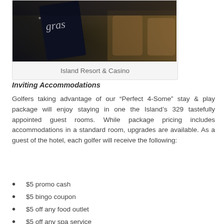[Figure (photo): Dark interior photo with what appears to be a menu or book with script lettering visible, and furniture in the background. Photo is cropped at top.]
Island Resort & Casino
Inviting Accommodations
Golfers taking advantage of our “Perfect 4-Some” stay & play package will enjoy staying in one the Island’s 329 tastefully appointed guest rooms. While package pricing includes accommodations in a standard room, upgrades are available. As a guest of the hotel, each golfer will receive the following:
$5 promo cash
$5 bingo coupon
$5 off any food outlet
$5 off any spa service
$5 complimentary drink coupon